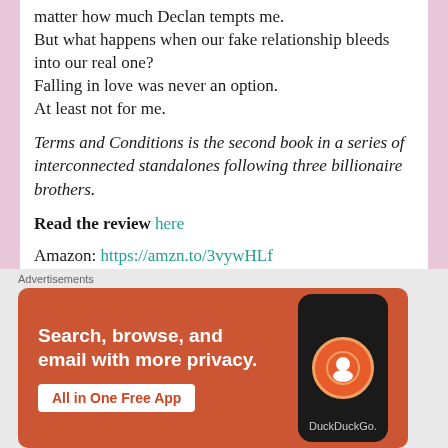matter how much Declan tempts me.
But what happens when our fake relationship bleeds into our real one?
Falling in love was never an option.
At least not for me.
Terms and Conditions is the second book in a series of interconnected standalones following three billionaire brothers.
Read the review here
Amazon: https://amzn.to/3vywHLf
[Figure (infographic): DuckDuckGo advertisement banner with orange background. Text reads: Search, browse, and email with more privacy. All in One Free App. Shows a phone with DuckDuckGo logo.]